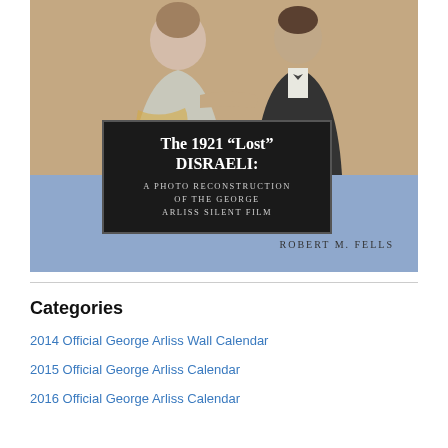[Figure (illustration): Book cover for 'The 1921 Lost DISRAELI: A Photo Reconstruction of the George Arliss Silent Film' by Robert M. Fells. Blue/periwinkle background with a sepia photograph of two people at the top, overlaid by a black title box with white text. Author name in spaced caps at bottom right.]
Categories
2014 Official George Arliss Wall Calendar
2015 Official George Arliss Calendar
2016 Official George Arliss Calendar